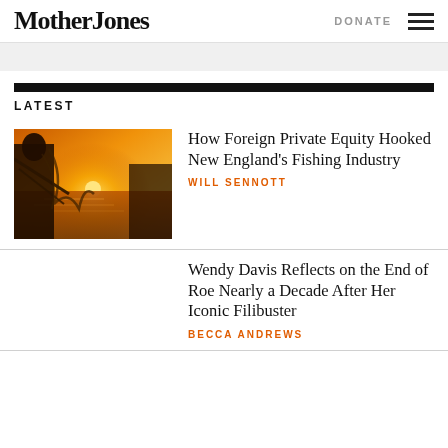Mother Jones | DONATE
LATEST
[Figure (photo): A person on a fishing boat with sunlight over the ocean]
How Foreign Private Equity Hooked New England's Fishing Industry
WILL SENNOTT
Wendy Davis Reflects on the End of Roe Nearly a Decade After Her Iconic Filibuster
BECCA ANDREWS